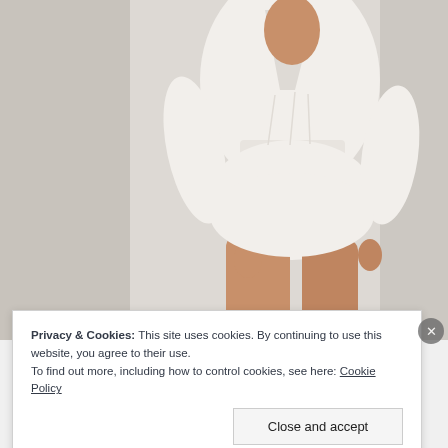[Figure (photo): A model wearing a white short romper/playsuit with V-neckline and long sleeves, posing against a light gray/white wall background. The image is cropped showing from approximately the shoulders down to mid-thigh level.]
Privacy & Cookies: This site uses cookies. By continuing to use this website, you agree to their use.
To find out more, including how to control cookies, see here: Cookie Policy
Close and accept